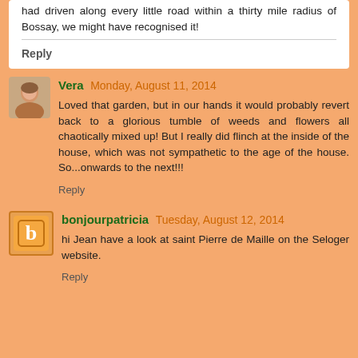had driven along every little road within a thirty mile radius of Bossay, we might have recognised it!
Reply
Vera  Monday, August 11, 2014
Loved that garden, but in our hands it would probably revert back to a glorious tumble of weeds and flowers all chaotically mixed up! But I really did flinch at the inside of the house, which was not sympathetic to the age of the house. So...onwards to the next!!!
Reply
bonjourpatricia  Tuesday, August 12, 2014
hi Jean have a look at saint Pierre de Maille on the Seloger website.
Reply